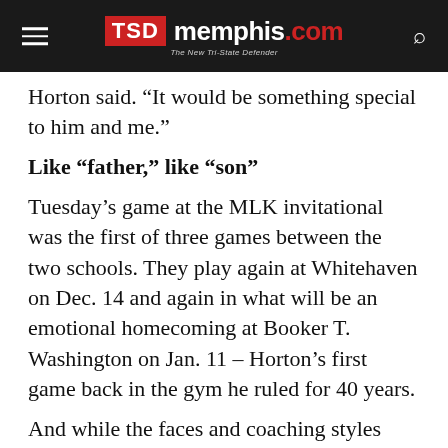TSD memphis.com The New Tri-State Defender
Horton said. “It would be something special to him and me.”
Like “father,” like “son”
Tuesday’s game at the MLK invitational was the first of three games between the two schools. They play again at Whitehaven on Dec. 14 and again in what will be an emotional homecoming at Booker T. Washington on Jan. 11 – Horton’s first game back in the gym he ruled for 40 years.
And while the faces and coaching styles have